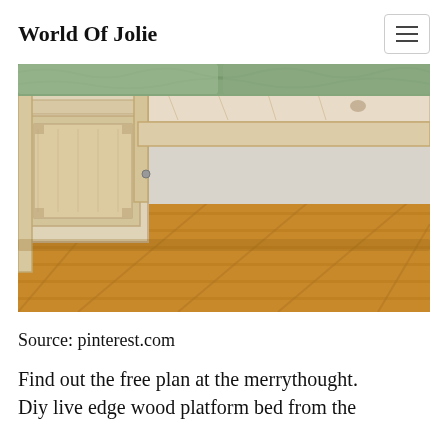World Of Jolie
[Figure (photo): A wooden platform bed frame with paneled footboard and side rail, light pine wood, sitting on hardwood flooring. Green bedding visible at the top.]
Source: pinterest.com
Find out the free plan at the merrythought. Diy live edge wood platform bed from the